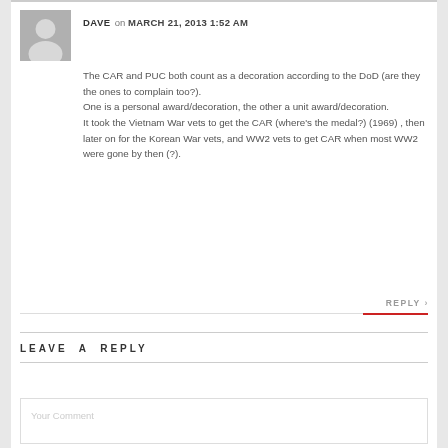DAVE on MARCH 21, 2013 1:52 AM
The CAR and PUC both count as a decoration according to the DoD (are they the ones to complain too?).
One is a personal award/decoration, the other a unit award/decoration.
It took the Vietnam War vets to get the CAR (where's the medal?) (1969) , then later on for the Korean War vets, and WW2 vets to get CAR when most WW2 were gone by then (?).
REPLY
LEAVE A REPLY
Your Comment